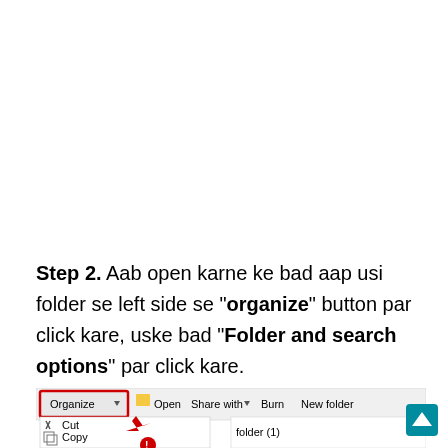Step 2. Aab open karne ke bad aap usi folder se left side se "organize" button par click kare, uske bad "Folder and search options" par click kare.
[Figure (screenshot): Windows Explorer toolbar screenshot showing Organize dropdown menu with Cut and Copy options visible, along with Open, Share with, Burn, New folder buttons. A red arrow points to the Organize button which is highlighted with a red border. 'folder (1)' text visible in breadcrumb.]